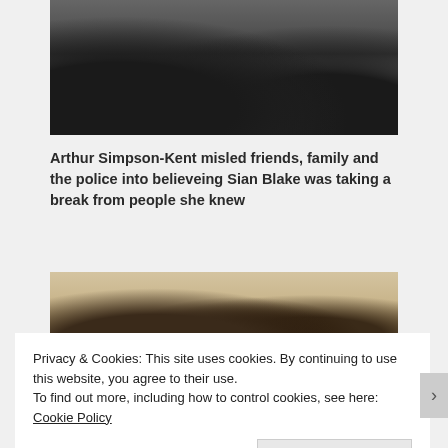[Figure (photo): Photo of people's legs and feet walking, taken from below waist level, dark clothing]
Arthur Simpson-Kent misled friends, family and the police into believeing Sian Blake was taking a break from people she knew
[Figure (photo): Photo of people sitting inside a car, seen through car window]
Privacy & Cookies: This site uses cookies. By continuing to use this website, you agree to their use.
To find out more, including how to control cookies, see here: Cookie Policy
Close and accept